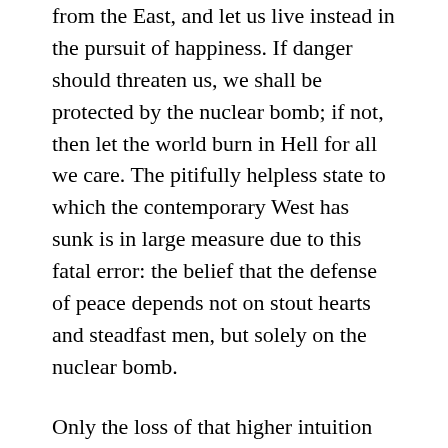from the East, and let us live instead in the pursuit of happiness. If danger should threaten us, we shall be protected by the nuclear bomb; if not, then let the world burn in Hell for all we care. The pitifully helpless state to which the contemporary West has sunk is in large measure due to this fatal error: the belief that the defense of peace depends not on stout hearts and steadfast men, but solely on the nuclear bomb.
Only the loss of that higher intuition that comes from God could have allowed the West to accept calmly, after World War I, the protracted agony of Russia as she was being torn apart by a band of cannibals, or to accept, after World War II, the similar dismemberment